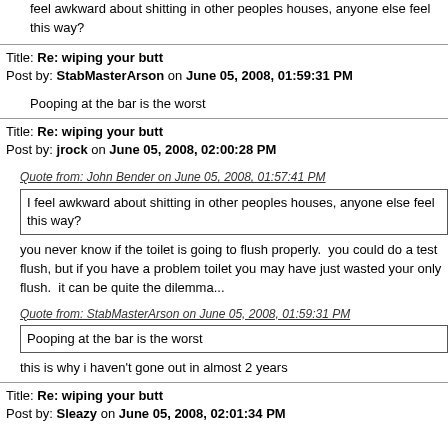feel awkward about shitting in other peoples houses, anyone else feel this way?
Title: Re: wiping your butt
Post by: StabMasterArson on June 05, 2008, 01:59:31 PM
Pooping at the bar is the worst
Title: Re: wiping your butt
Post by: jrock on June 05, 2008, 02:00:28 PM
Quote from: John Bender on June 05, 2008, 01:57:41 PM
I feel awkward about shitting in other peoples houses, anyone else feel this way?
you never know if the toilet is going to flush properly.  you could do a test flush, but if you have a problem toilet you may have just wasted your only flush.  it can be quite the dilemma...
Quote from: StabMasterArson on June 05, 2008, 01:59:31 PM
Pooping at the bar is the worst
this is why i haven't gone out in almost 2 years
Title: Re: wiping your butt
Post by: Sleazy on June 05, 2008, 02:01:34 PM